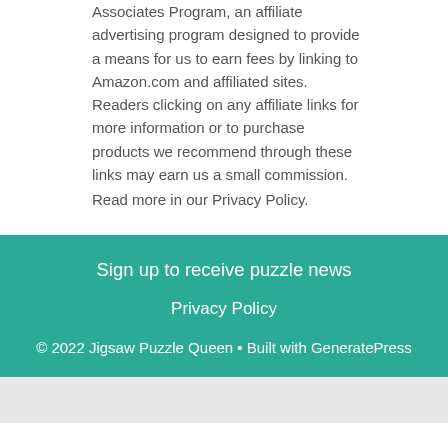Associates Program, an affiliate advertising program designed to provide a means for us to earn fees by linking to Amazon.com and affiliated sites. Readers clicking on any affiliate links for more information or to purchase products we recommend through these links may earn us a small commission.
Read more in our Privacy Policy.
Sign up to receive puzzle news
Privacy Policy
© 2022 Jigsaw Puzzle Queen • Built with GeneratePress